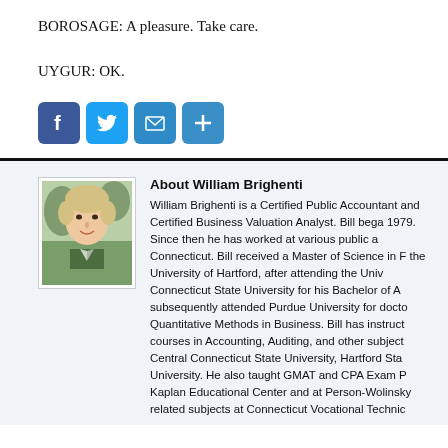BOROSAGE: A pleasure. Take care.
UYGUR: OK.
[Figure (other): Social media sharing buttons: Facebook, Twitter, Email, Share (plus icon)]
About William Brighenti
[Figure (photo): Headshot photo of William Brighenti]
William Brighenti is a Certified Public Accountant and Certified Business Valuation Analyst. Bill began 1979. Since then he has worked at various public a Connecticut. Bill received a Master of Science in F the University of Hartford, after attending the Univ Connecticut State University for his Bachelor of A subsequently attended Purdue University for docto Quantitative Methods in Business. Bill has instruct courses in Accounting, Auditing, and other subject Central Connecticut State University, Hartford Sta University. He also taught GMAT and CPA Exam P Kaplan Educational Center and at Person-Wolinsky related subjects at Connecticut Vocational Technic